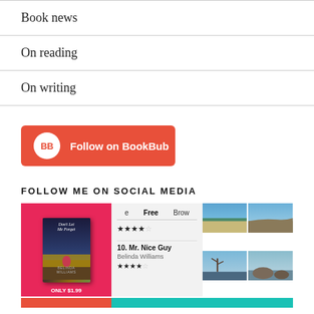Book news
On reading
On writing
[Figure (other): Follow on BookBub button — red/orange rectangle with BB logo circle and white text]
FOLLOW ME ON SOCIAL MEDIA
[Figure (photo): Three social media image thumbnails side by side: a pink book cover ad for 'Don't Let Me Forget' by Belinda Williams (Only $1.99), an app screenshot showing Free/Browse tabs with star ratings and '10. Mr. Nice Guy' by Belinda Williams, and a nature photo collage of beach/lake scenes.]